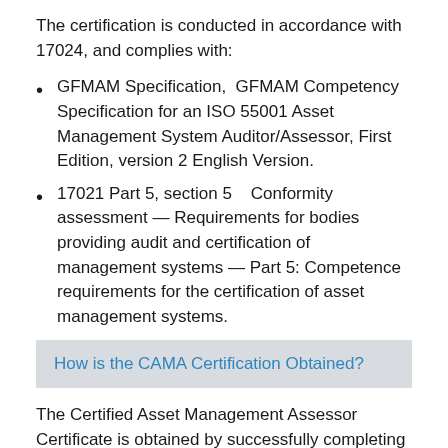The certification is conducted in accordance with 17024, and complies with:
GFMAM Specification, GFMAM Competency Specification for an ISO 55001 Asset Management System Auditor/Assessor, First Edition, version 2 English Version.
17021 Part 5, section 5    Conformity assessment — Requirements for bodies providing audit and certification of management systems — Part 5: Competence requirements for the certification of asset management systems.
How is the CAMA Certification Obtained?
The Certified Asset Management Assessor Certificate is obtained by successfully completing a proctored on-line exam and professional profile.
The exam is a two hour closed book exam, with